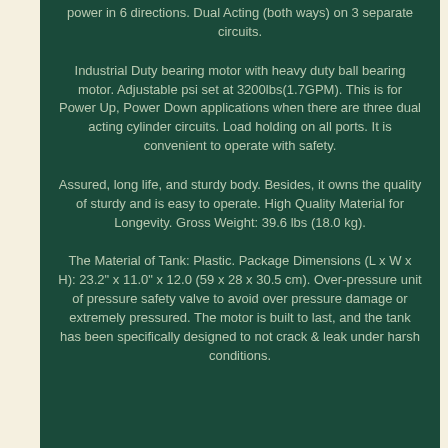power in 6 directions. Dual Acting (both ways) on 3 separate circuits.
Industrial Duty bearing motor with heavy duty ball bearing motor. Adjustable psi set at 3200lbs(1.7GPM). This is for Power Up, Power Down applications when there are three dual acting cylinder circuits. Load holding on all ports. It is convenient to operate with safety.
Assured, long life, and sturdy body. Besides, it owns the quality of sturdy and is easy to operate. High Quality Material for Longevity. Gross Weight: 39.6 lbs (18.0 kg).
The Material of Tank: Plastic. Package Dimensions (L x W x H): 23.2" x 11.0" x 12.0 (59 x 28 x 30.5 cm). Over-pressure unit of pressure safety valve to avoid over pressure damage or extremely pressured. The motor is built to last, and the tank has been specifically designed to not crack & leak under harsh conditions.